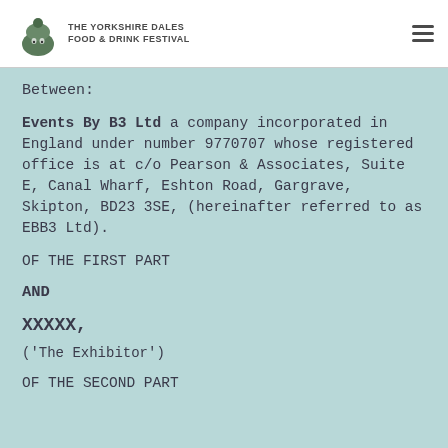The Yorkshire Dales Food & Drink Festival
Between:
Events By B3 Ltd a company incorporated in England under number 9770707 whose registered office is at c/o Pearson & Associates, Suite E, Canal Wharf, Eshton Road, Gargrave, Skipton, BD23 3SE, (hereinafter referred to as EBB3 Ltd).
OF THE FIRST PART
AND
XXXXX,
('The Exhibitor')
OF THE SECOND PART